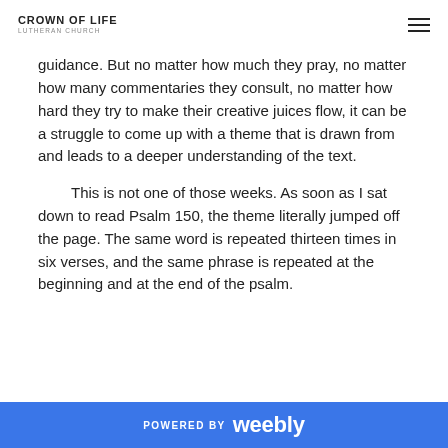CROWN OF LIFE LUTHERAN CHURCH
guidance. But no matter how much they pray, no matter how many commentaries they consult, no matter how hard they try to make their creative juices flow, it can be a struggle to come up with a theme that is drawn from and leads to a deeper understanding of the text.
This is not one of those weeks. As soon as I sat down to read Psalm 150, the theme literally jumped off the page. The same word is repeated thirteen times in six verses, and the same phrase is repeated at the beginning and at the end of the psalm.
POWERED BY weebly